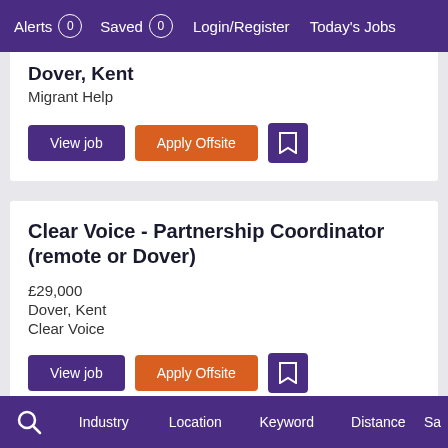Alerts 0  Saved 0  Login/Register  Today's Jobs
Dover, Kent
Migrant Help
View job  Apply Offsite  [save]
Clear Voice - Partnership Coordinator (remote or Dover)
£29,000
Dover, Kent
Clear Voice
View job  Apply Offsite  [save]
Search  Industry  Location  Keyword  Distance  Sa...